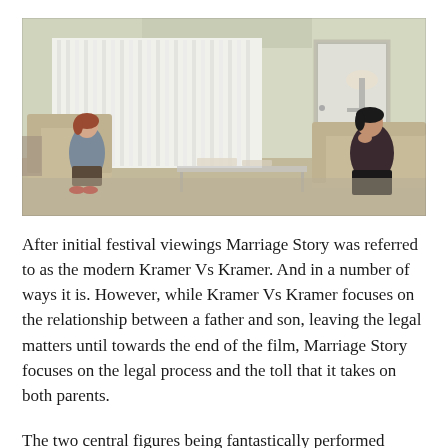[Figure (photo): A still from the film Marriage Story showing two people sitting across from each other in a sparse, minimally furnished living room. A woman with short red hair sits on the left on a tan armchair near a window with vertical blinds. A man with dark hair sits on the right on a beige sofa, resting his chin on his hand. A glass coffee table is between them. The room has white walls and a door on the right side.]
After initial festival viewings Marriage Story was referred to as the modern Kramer Vs Kramer. And in a number of ways it is. However, while Kramer Vs Kramer focuses on the relationship between a father and son, leaving the legal matters until towards the end of the film, Marriage Story focuses on the legal process and the toll that it takes on both parents.
The two central figures being fantastically performed